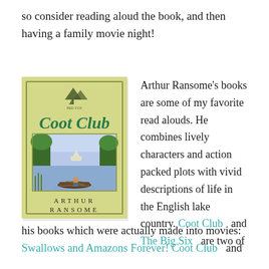so consider reading aloud the book, and then having a family movie night!
[Figure (illustration): Book cover of 'Coot Club' by Arthur Ransome, showing a river scene with a person in a canoe, trees along the banks, and a boat in the background. The cover has a yellow-green background with decorative border, a mountain/sailboat logo at the top, italic green title 'Coot Club', and the author name 'ARTHUR RANSOME' in spaced capitals at the bottom.]
Arthur Ransome's books are some of my favorite read alouds. He combines lively characters and action packed plots with vivid descriptions of life in the English lake country. Coot Club and The Big Six are two of his books which were actually made into movies: Swallows and Amazons Forever! Coot Club and